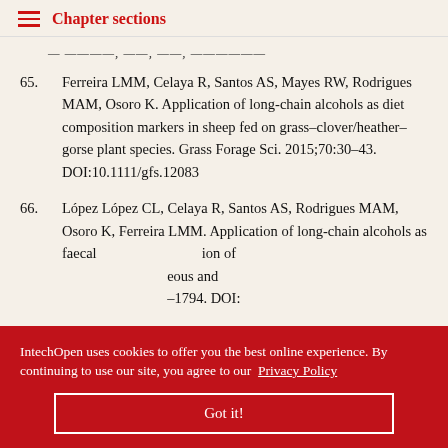Chapter sections
— [truncated/redacted content line]
65. Ferreira LMM, Celaya R, Santos AS, Mayes RW, Rodrigues MAM, Osoro K. Application of long-chain alcohols as diet composition markers in sheep fed on grass–clover/heather–gorse plant species. Grass Forage Sci. 2015;70:30–43. DOI:10.1111/gfs.12083
66. López López CL, Celaya R, Santos AS, Rodrigues MAM, Osoro K, Ferreira LMM. Application of long-chain alcohols as faecal [ion of] [eous and] [–1794. DOI:]
e of the alkenes (unsaturated hydrocarbons) of plant
IntechOpen uses cookies to offer you the best online experience. By continuing to use our site, you agree to our Privacy Policy
Got it!